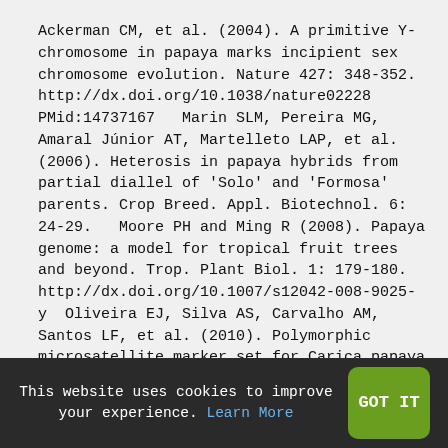Ackerman CM, et al. (2004). A primitive Y-chromosome in papaya marks incipient sex chromosome evolution. Nature 427: 348-352. http://dx.doi.org/10.1038/nature02228 PMid:14737167   Marin SLM, Pereira MG, Amaral Júnior AT, Martelleto LAP, et al. (2006). Heterosis in papaya hybrids from partial diallel of 'Solo' and 'Formosa' parents. Crop Breed. Appl. Biotechnol. 6: 24-29.   Moore PH and Ming R (2008). Papaya genome: a model for tropical fruit trees and beyond. Trop. Plant Biol. 1: 179-180. http://dx.doi.org/10.1007/s12042-008-9025-y   Oliveira EJ, Silva AS, Carvalho AM, Santos LF, et al. (2010). Polymorphic microsatellite marker set for Carica papaya L. and its use in molecular-assisted selection. Euphytica 173: 279-287. http://dx.doi.org/10.1007/s10681-010-0150-y   Oliveira LK, Melo LC, Brondani C, Peloso MJ, et al.
This website uses cookies to improve your experience. Learn More